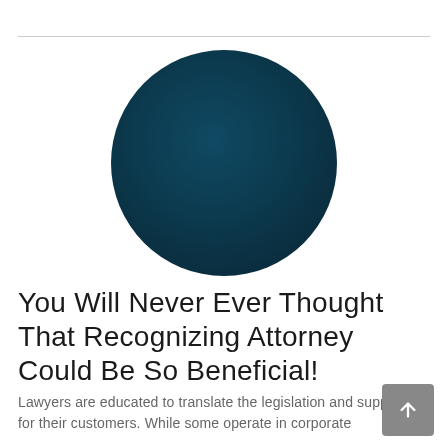[Figure (illustration): A large dark teal/navy blue circle centered on the page, used as a decorative graphic element.]
You Will Never Ever Thought That Recognizing Attorney Could Be So Beneficial!
Lawyers are educated to translate the legislation and supporter for their customers. While some operate in corporate